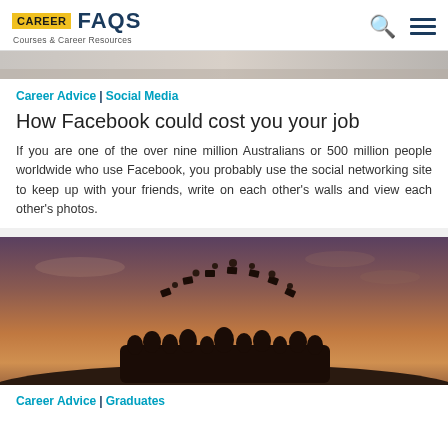CAREER FAQS — Courses & Career Resources
[Figure (photo): Partial hero image strip at top of page, blurred/faded]
Career Advice | Social Media
How Facebook could cost you your job
If you are one of the over nine million Australians or 500 million people worldwide who use Facebook, you probably use the social networking site to keep up with your friends, write on each other's walls and view each other's photos.
[Figure (photo): Graduation photo at sunset: silhouettes of graduates tossing caps in arc shape against orange/purple sky]
Career Advice | Graduates